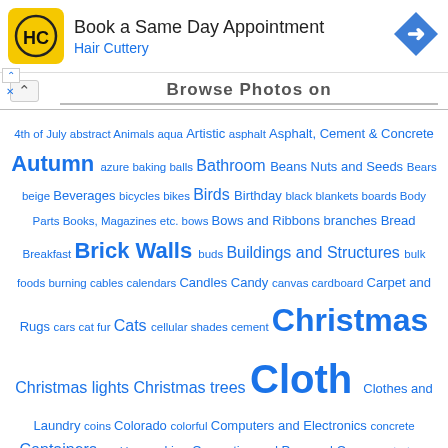[Figure (infographic): Hair Cuttery advertisement banner: logo (HC in black on yellow background), 'Book a Same Day Appointment' heading, 'Hair Cuttery' subtitle in blue, blue diamond navigation arrow icon on right, close/ad controls on left.]
Browse Photos on
4th of July abstract Animals aqua Artistic asphalt Asphalt, Cement & Concrete Autumn azure baking balls Bathroom Beans Nuts and Seeds Bears beige Beverages bicycles bikes Birds Birthday black blankets boards Body Parts Books, Magazines etc. bows Bows and Ribbons branches Bread Breakfast Brick Walls buds Buildings and Structures bulk foods burning cables calendars Candles Candy canvas cardboard Carpet and Rugs cars cat fur Cats cellular shades cement Christmas Christmas lights Christmas trees Cloth Clothes and Laundry coins Colorado colorful Computers and Electronics concrete Containers cookies cooking Cosmetics and Personal Care countertops Cows crabapples cream curtains cute dark darkness decorations denim Desserts diamonds dictionary Dishes, Glassware & Silverware Dogs dots drawing drops Easter eggs electricity Elephants evergreens faces fences Fireworks Fish Flags flames fleece Floors Flowers Food Foxes Wolves & Wild Dogs Frogs frost fruit Fruits and Veggies fuchsia funny fur Furniture garbage Garden geese geology